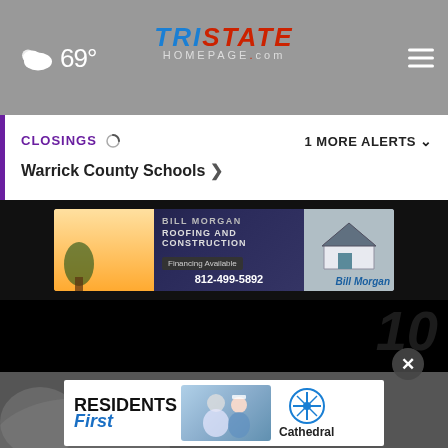69° - Tristate Homepage
CLOSINGS  1 MORE ALERTS
Warrick County Schools >
[Figure (photo): Bill Morgan Roofing and Construction advertisement banner, phone 812-499-5892]
[Figure (photo): Dark video player area with watermark number 10]
[Figure (photo): Residents First - Cathedral advertisement banner]